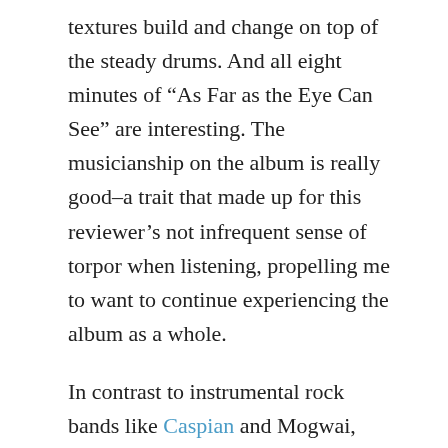textures build and change on top of the steady drums. And all eight minutes of “As Far as the Eye Can See” are interesting. The musicianship on the album is really good–a trait that made up for this reviewer’s not infrequent sense of torpor when listening, propelling me to want to continue experiencing the album as a whole.
In contrast to instrumental rock bands like Caspian and Mogwai, there is nary a vocal line to be found on the album. But there are enough riffs, layers, lines, changes, motifs, and grooves that you’ll probably want to listen to this album at least two times through before you feel confident making up your mind about it.
At nine tracks and an hour long, Do Make Say Think